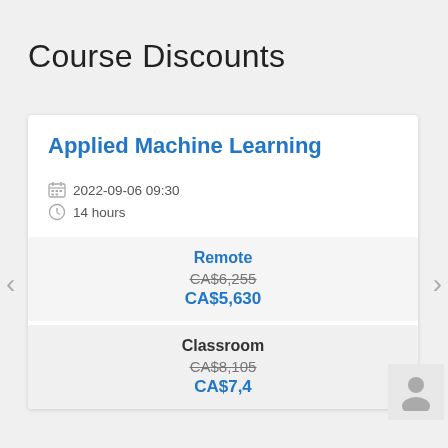Course Discounts
Applied Machine Learning
2022-09-06 09:30
14 hours
| Type | Original Price | Discounted Price |
| --- | --- | --- |
| Remote | CA$6,255 | CA$5,630 |
| Classroom | CA$8,105 | CA$7,400 |